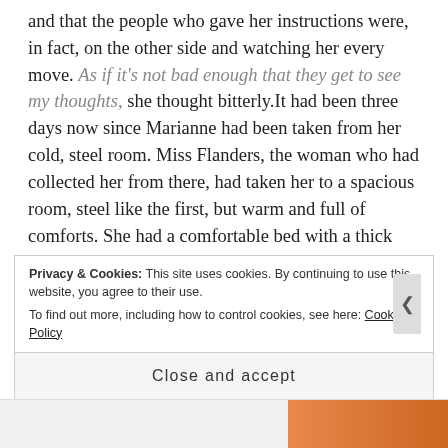and that the people who gave her instructions were, in fact, on the other side and watching her every move. As if it's not bad enough that they get to see my thoughts, she thought bitterly.It had been three days now since Marianne had been taken from her cold, steel room. Miss Flanders, the woman who had collected her from there, had taken her to a spacious room, steel like the first, but warm and full of comforts. She had a comfortable bed with a thick mattress, a desk with some writing paper and pens on it, and, best of all, a bookcase crammed full of books. There was also a spare bed in the room, but
Privacy & Cookies: This site uses cookies. By continuing to use this website, you agree to their use. To find out more, including how to control cookies, see here: Cookie Policy
Close and accept